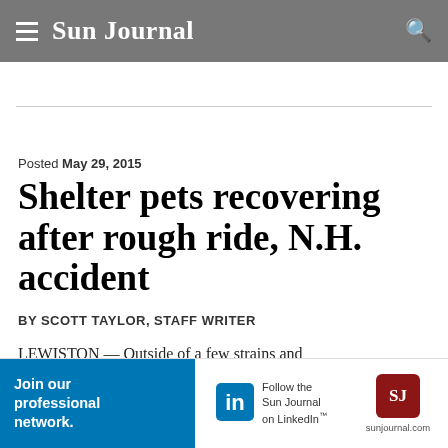Sun Journal
Posted May 29, 2015
Shelter pets recovering after rough ride, N.H. accident
BY SCOTT TAYLOR, STAFF WRITER
LEWISTON — Outside of a few strains and
[Figure (infographic): LinkedIn advertisement banner: 'Join our professional network.' with LinkedIn logo and 'Follow the Sun Journal on LinkedIn' text, sunjournal.com and SJ logo on right.]